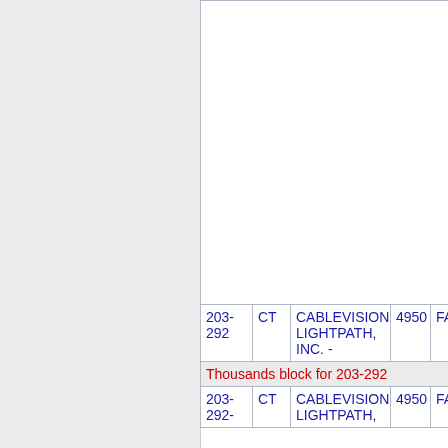|  | CT | CABLEVISION LIGHTPATH, INC. - | 4950 | FAIRFI |
| --- | --- | --- | --- | --- |
| 203-
292 | CT | CABLEVISION LIGHTPATH, INC. - | 4950 | FAIRFI |
| Thousands block for 203-292 |  |  |  |  |
| 203-
292- | CT | CABLEVISION LIGHTPATH, | 4950 | FAIRFI |